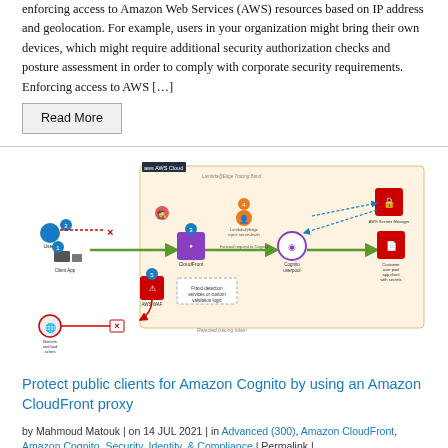enforcing access to Amazon Web Services (AWS) resources based on IP address and geolocation. For example, users in your organization might bring their own devices, which might require additional security authorization checks and posture assessment in order to comply with corporate security requirements. Enforcing access to AWS […]
Read More
[Figure (infographic): Architecture diagram showing AWS Cloud setup with numbered steps (1-5): Users, Client App, CloudFront, Lambda@Edge inject secret-hash, Forward request to Cognito, AWS WAF, Fraud detection services or custom validation logic, Cognito userpool, AWS Secrets Manager, Customer user pool app client with secrets. Shows allowed traffic (green), blocked traffic (red X), and dashed blue arrows.]
Protect public clients for Amazon Cognito by using an Amazon CloudFront proxy
by Mahmoud Matouk | on 14 JUL 2021 | in Advanced (300), Amazon CloudFront, Amazon Cognito, Security, Identity, & Compliance | Permalink |